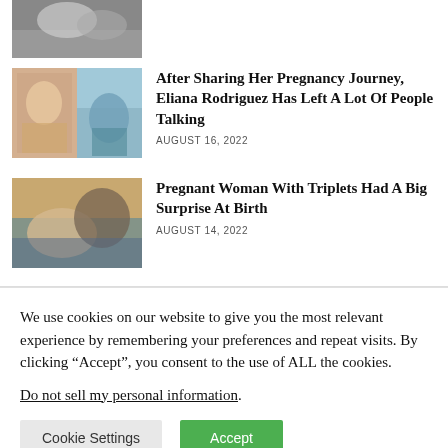[Figure (photo): Partial image at top, appears to be an animal on gravel/stones]
[Figure (photo): Two-photo collage: left shows pregnant woman, right shows woman in teal dress outdoors]
After Sharing Her Pregnancy Journey, Eliana Rodriguez Has Left A Lot Of People Talking
AUGUST 16, 2022
[Figure (photo): Couple, woman lying down with man leaning over her, outdoor/golden hour setting]
Pregnant Woman With Triplets Had A Big Surprise At Birth
AUGUST 14, 2022
We use cookies on our website to give you the most relevant experience by remembering your preferences and repeat visits. By clicking “Accept”, you consent to the use of ALL the cookies.
Do not sell my personal information.